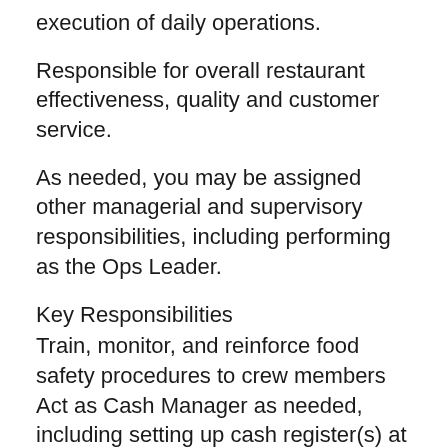execution of daily operations.
Responsible for overall restaurant effectiveness, quality and customer service.
As needed, you may be assigned other managerial and supervisory responsibilities, including performing as the Ops Leader.
Key Responsibilities
Train, monitor, and reinforce food safety procedures to crew members
Act as Cash Manager as needed, including setting up cash register(s) at open and verifying cash at close
Perform walk-thru to ensure restaurant is ready to open/close and/or rush-ready
Work with Restaurant Management team to